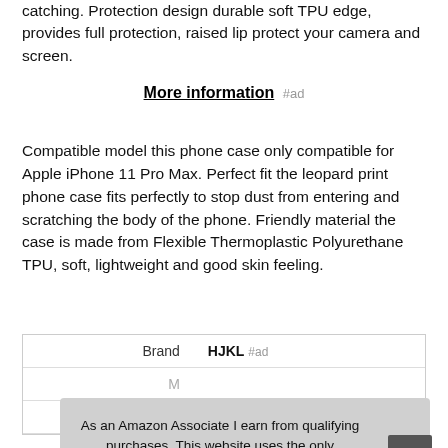catching. Protection design durable soft TPU edge, provides full protection, raised lip protect your camera and screen.
More information #ad
Compatible model this phone case only compatible for Apple iPhone 11 Pro Max. Perfect fit the leopard print phone case fits perfectly to stop dust from entering and scratching the body of the phone. Friendly material the case is made from Flexible Thermoplastic Polyurethane TPU, soft, lightweight and good skin feeling.
|  |  |
| --- | --- |
| Brand | HJKL #ad |
| M... |  |
| P... |  |
As an Amazon Associate I earn from qualifying purchases. This website uses the only necessary cookies to ensure you get the best experience on our website. More information